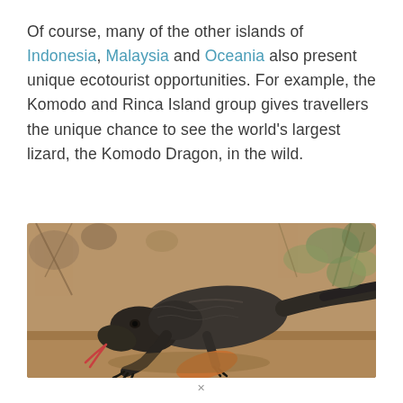Of course, many of the other islands of Indonesia, Malaysia and Oceania also present unique ecotourist opportunities. For example, the Komodo and Rinca Island group gives travellers the unique chance to see the world's largest lizard, the Komodo Dragon, in the wild.
[Figure (photo): A Komodo Dragon walking low to the ground with its tongue extended, surrounded by dry brush and sparse vegetation in the background. The lizard is large, dark grey-brown with rough scaly skin, captured in a natural habitat setting.]